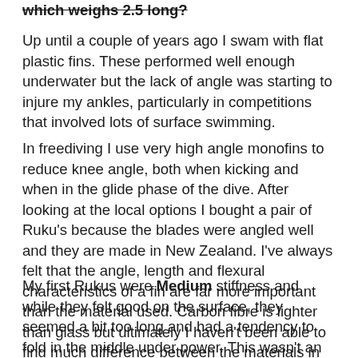which weighs 2.5 long?
Up until a couple of years ago I swam with flat plastic fins. These performed well enough underwater but the lack of angle was starting to injure my ankles, particularly in competitions that involved lots of surface swimming.
In freediving I use very high angle monofins to reduce knee angle, both when kicking and when in the glide phase of the dive. After looking at the local options I bought a pair of Ruku's because the blades were angled well and they are made in New Zealand. I've always felt that the angle, length and flexural characteristics of a fin are far more important than the material used. Carbon fibre is lighter than glass but ultimately I haven't been able to find much difference between the materials in real performance terms.
My first Rukus were Medium stiffness and while they felt good on the surface, they seemed a bit too long and had a tendency to fold in the middle under power. This wasn't an issue on shallow dives but showed up when I went deeper, especially in Wellington conditions with a thick suit and lots